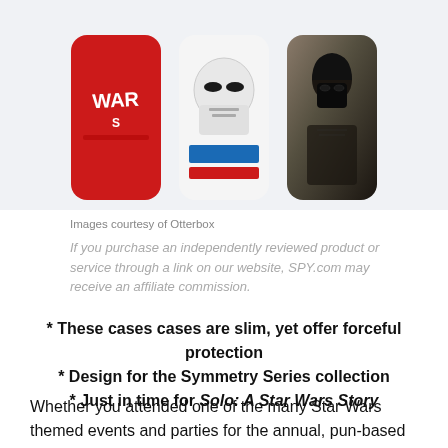[Figure (photo): Three Star Wars themed OtterBox phone cases displayed side by side: a red case with 'WARS' logo, a white Stormtrooper-design case, and a dark Darth Vader themed case.]
Images courtesy of Otterbox
If you purchase an independently reviewed product or service through a link on our website, SPY.com may receive an affiliate commission.
* These cases cases are slim, yet offer forceful protection
* Design for the Symmetry Series collection
* Just in time for Solo: A Star Wars Story
Whether you attended one of the many Star Wars themed events and parties for the annual, pun-based unofficial holiday of “Star Wars day,” or are just getting your hyperdrive into gear for the release of Solo: A Star Wars story, the Otterbox x Star Wars collection